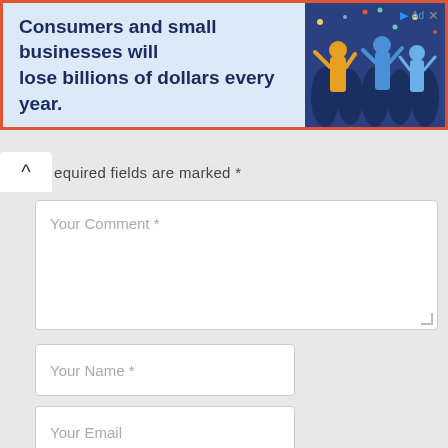[Figure (illustration): Advertisement banner with blue background showing illustration of people celebrating/cheering and bold text: 'Consumers and small businesses will lose billions of dollars every year.']
* required fields are marked *
Your Comment *
Your Name *
Your Email
Your Mobile No
Post Comment